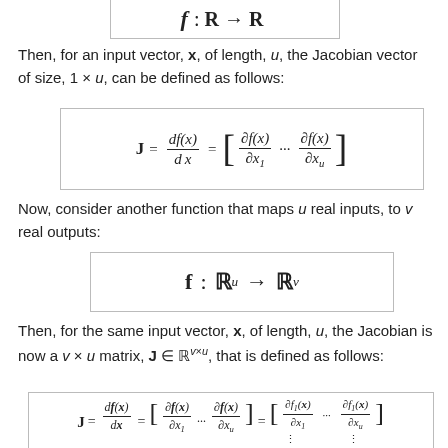[Figure (math-figure): Formula box showing f : R → R (top, partially visible)]
Then, for an input vector, x, of length, u, the Jacobian vector of size, 1 × u, can be defined as follows:
Now, consider another function that maps u real inputs, to v real outputs:
Then, for the same input vector, x, of length, u, the Jacobian is now a v × u matrix, J ∈ ℝ^{v×u}, that is defined as follows: